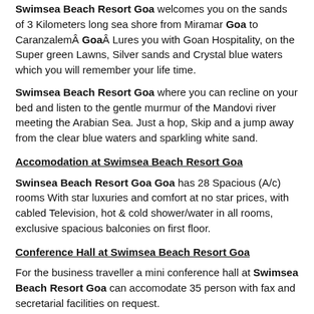Swimsea Beach Resort Goa welcomes you on the sands of 3 Kilometers long sea shore from Miramar Goa to CaranzalemÂ GoaÂ Lures you with Goan Hospitality, on the Super green Lawns, Silver sands and Crystal blue waters which you will remember your life time.
Swimsea Beach Resort Goa where you can recline on your bed and listen to the gentle murmur of the Mandovi river meeting the Arabian Sea. Just a hop, Skip and a jump away from the clear blue waters and sparkling white sand.
Accomodation at Swimsea Beach Resort Goa
Swinsea Beach Resort Goa Goa has 28 Spacious (A/c) rooms With star luxuries and comfort at no star prices, with cabled Television, hot & cold shower/water in all rooms, exclusive spacious balconies on first floor.
Conference Hall at Swimsea Beach Resort Goa
For the business traveller a mini conference hall at Swimsea Beach Resort Goa can accomodate 35 person with fax and secretarial facilities on request.